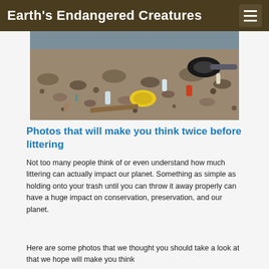Earth's Endangered Creatures
[Figure (photo): A rocky beach or riverbank covered in scattered litter, plastic bottles, a yellow lid, tire, and various trash items, with water visible in the background.]
Photos that will make you think twice before littering
Not too many people think of or even understand how much littering can actually impact our planet. Something as simple as holding onto your trash until you can throw it away properly can have a huge impact on conservation, preservation, and our planet.
Here are some photos that we thought you should take a look at that we hope will make you think